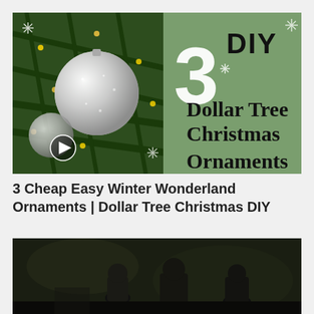[Figure (screenshot): Video thumbnail showing Christmas ornaments on a tree. Left half shows glittery silver/white ornaments on a pine tree with warm lights. Right half has a sage green background with text reading '3 DIY Dollar Tree Christmas Ornaments' in large bold black serif font with snowflake decorations. A play button icon is visible in the lower left.]
3 Cheap Easy Winter Wonderland Ornaments | Dollar Tree Christmas DIY
[Figure (screenshot): Dark video thumbnail showing people in a dimly lit indoor scene, partially visible at the bottom of the page.]